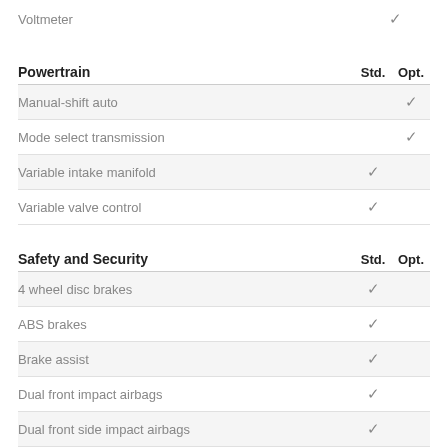Voltmeter — Opt. ✓
Powertrain  Std.  Opt.
Manual-shift auto — Opt. ✓
Mode select transmission — Opt. ✓
Variable intake manifold — Std. ✓
Variable valve control — Std. ✓
Safety and Security  Std.  Opt.
4 wheel disc brakes — Std. ✓
ABS brakes — Std. ✓
Brake assist — Std. ✓
Dual front impact airbags — Std. ✓
Dual front side impact airbags — Std. ✓
Electronic stability — Std. ✓
Ignition disable — Std. ✓